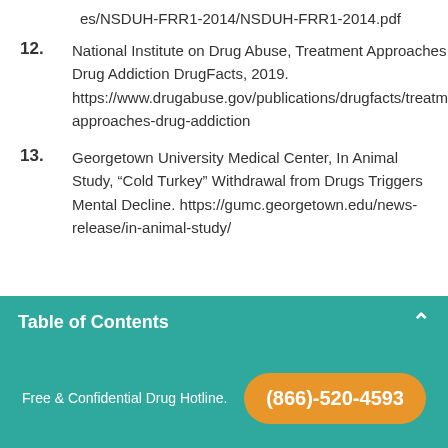es/NSDUH-FRR1-2014/NSDUH-FRR1-2014.pdf
12. National Institute on Drug Abuse, Treatment Approaches for Drug Addiction DrugFacts, 2019. https://www.drugabuse.gov/publications/drugfacts/treatment-approaches-drug-addiction
13. Georgetown University Medical Center, In Animal Study, “Cold Turkey” Withdrawal from Drugs Triggers Mental Decline. https://gumc.georgetown.edu/news-release/in-animal-study/
Table of Contents
Free & Confidential Drug Hotline. (866)-520-4593